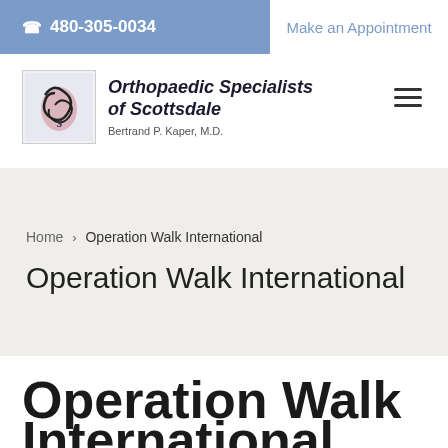480-305-0034   Make an Appointment
[Figure (logo): Orthopaedic Specialists of Scottsdale logo with stylized OS emblem]
Orthopaedic Specialists of Scottsdale
Bertrand P. Kaper, M.D.
Home > Operation Walk International
Operation Walk International
Operation Walk International